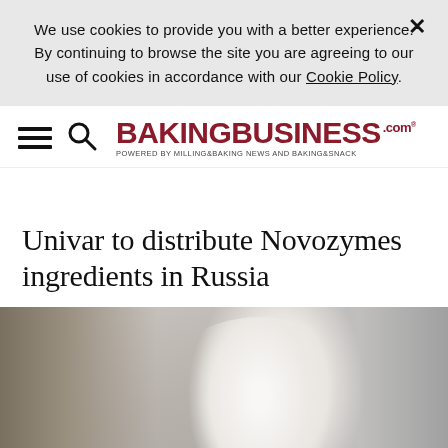We use cookies to provide you with a better experience. ✕ By continuing to browse the site you are agreeing to our use of cookies in accordance with our Cookie Policy.
[Figure (logo): BakingBusiness.com logo with hamburger menu and search icon. Tagline: POWERED BY MILLING&BAKING NEWS AND BAKING&SNACK]
Univar to distribute Novozymes ingredients in Russia
[Figure (photo): Photo of a baker wearing a white shirt in a bakery kitchen environment]